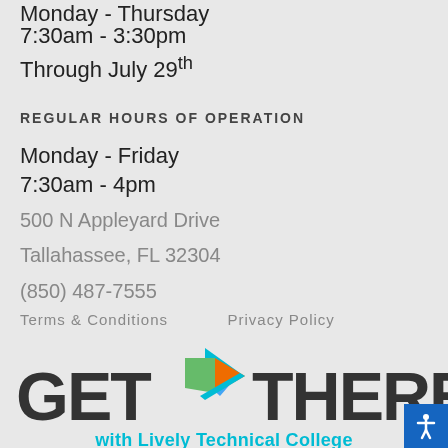Monday - Thursday
7:30am - 3:30pm
Through July 29th
REGULAR HOURS OF OPERATION
Monday - Friday
7:30am - 4pm
500 N Appleyard Drive
Tallahassee, FL 32304
(850) 487-7555
Terms & Conditions     Privacy Policy
[Figure (logo): GET THERE with Lively Technical College logo — large stylized text 'GET THERE' in dark charcoal with a colorful arrow/chevron icon between GET and THERE, and subtitle 'with Lively Technical College' in teal below]